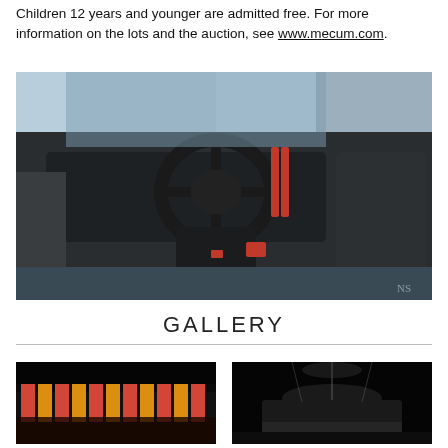Children 12 years and younger are admitted free. For more information on the lots and the auction, see www.mecum.com.
[Figure (photo): Interior view of a Ford GT supercar with the door open, showing the steering wheel, dashboard, red accents, and carbon fiber trim. Blue exterior visible in background.]
GALLERY
[Figure (photo): Gallery thumbnail image showing a colorful illuminated display with red and yellow lights against a dark background.]
[Figure (photo): Gallery thumbnail image showing a car on a dark background with overhead lighting.]